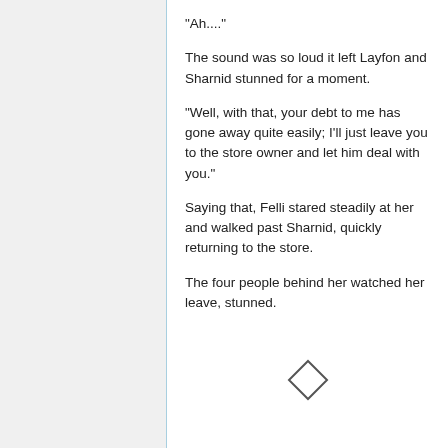"Ah...."
The sound was so loud it left Layfon and Sharnid stunned for a moment.
"Well, with that, your debt to me has gone away quite easily; I'll just leave you to the store owner and let him deal with you."
Saying that, Felli stared steadily at her and walked past Sharnid, quickly returning to the store.
The four people behind her watched her leave, stunned.
[Figure (illustration): A small diamond/rhombus shape used as a section break divider.]